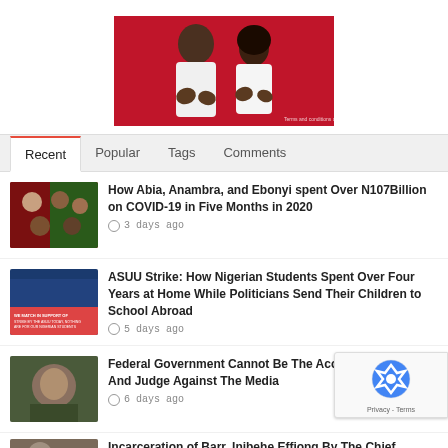[Figure (photo): Advertisement banner: two people in white shirts pointing at camera against a red background, with fine print 'Terms and conditions apply']
Recent | Popular | Tags | Comments
How Abia, Anambra, and Ebonyi spent Over N107Billion on COVID-19 in Five Months in 2020
3 days ago
ASUU Strike: How Nigerian Students Spent Over Four Years at Home While Politicians Send Their Children to School Abroad
5 days ago
Federal Government Cannot Be The Accuser, Prosecutor And Judge Against The Media
6 days ago
Incarceration of Barr. Inibehe Effiong By The Chief…